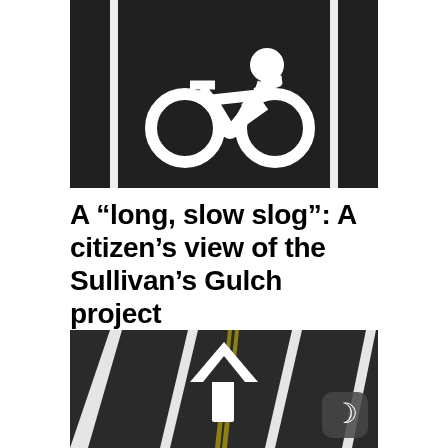[Figure (photo): Close-up photo of dark asphalt with white painted bicycle lane symbol (cyclist icon) and white lane divider lines.]
A “long, slow slog”: A citizen’s view of the Sullivan’s Gulch project
[Figure (photo): Photo of dark asphalt road surface with white painted directional arrow pointing upward and white lane stripe lines, with a dark mode crescent moon badge in the bottom-right corner.]